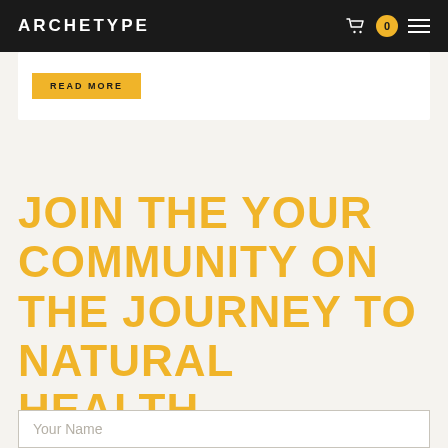ARCHETYPE
[Figure (screenshot): READ MORE button on a white card section]
JOIN THE YOUR COMMUNITY ON THE JOURNEY TO NATURAL HEALTH.
[Figure (other): Your Name input field placeholder]